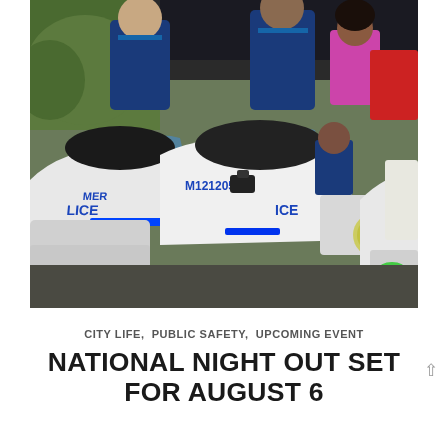[Figure (photo): Police officers in blue uniforms standing next to white police motorcycles labeled M121205 and LICE (POLICE). Children are interacting with the motorcycles. The scene appears to be an outdoor community event.]
CITY LIFE,  PUBLIC SAFETY,  UPCOMING EVENT
NATIONAL NIGHT OUT SET FOR AUGUST 6